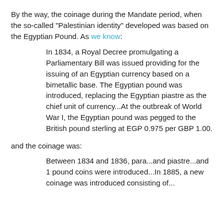By the way, the coinage during the Mandate period, when the so-called "Palestinian identity" developed was based on the Egyptian Pound. As we know:
In 1834, a Royal Decree promulgating a Parliamentary Bill was issued providing for the issuing of an Egyptian currency based on a bimetallic base. The Egyptian pound was introduced, replacing the Egyptian piastre as the chief unit of currency...At the outbreak of World War I, the Egyptian pound was pegged to the British pound sterling at EGP 0.975 per GBP 1.00.
and the coinage was:
Between 1834 and 1836, para...and piastre...and 1 pound coins were introduced...In 1885, a new coinage was introduced consisting of...